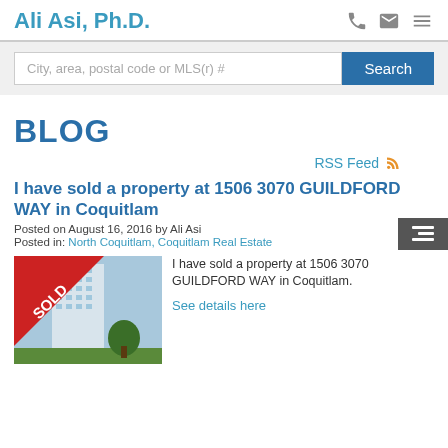Ali Asi, Ph.D.
City, area, postal code or MLS(r) #
Search
BLOG
RSS Feed
I have sold a property at 1506 3070 GUILDFORD WAY in Coquitlam
Posted on August 16, 2016 by Ali Asi
Posted in: North Coquitlam, Coquitlam Real Estate
[Figure (photo): Photo of a high-rise building with a red SOLD banner overlay in the corner]
I have sold a property at 1506 3070 GUILDFORD WAY in Coquitlam. See details here